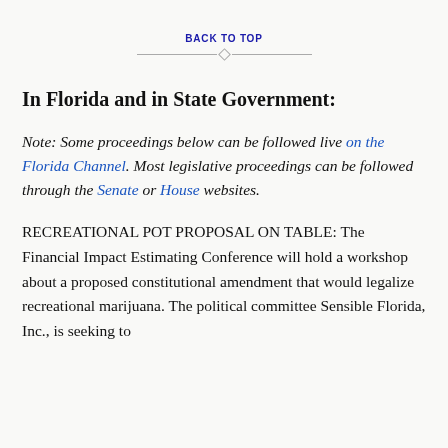BACK TO TOP
In Florida and in State Government:
Note: Some proceedings below can be followed live on the Florida Channel. Most legislative proceedings can be followed through the Senate or House websites.
RECREATIONAL POT PROPOSAL ON TABLE: The Financial Impact Estimating Conference will hold a workshop about a proposed constitutional amendment that would legalize recreational marijuana. The political committee Sensible Florida, Inc., is seeking to